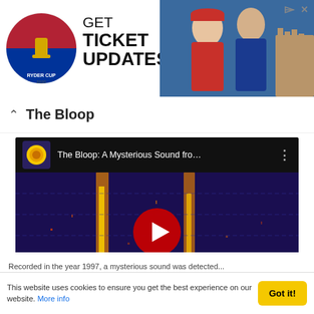[Figure (screenshot): Ryder Cup advertisement banner: logo on left, GET TICKET UPDATES text, golfers photo on right]
The Bloop
[Figure (screenshot): YouTube embedded video player showing 'The Bloop: A Mysterious Sound fro...' with spectrogram background and red play button]
Recorded in the year 1997, a mysterious sound was detected...
This website uses cookies to ensure you get the best experience on our website. More info